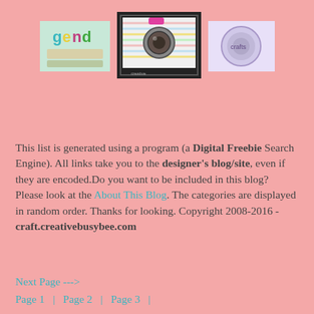[Figure (photo): Three craft/scrapbooking thumbnail images arranged in a row at the top of the page on a pink background. Left image shows colorful lettering craft. Center image shows a camera-themed card in a black frame with striped pattern. Right image shows a decorative circular/notebook item.]
This list is generated using a program (a Digital Freebie Search Engine). All links take you to the designer's blog/site, even if they are encoded.Do you want to be included in this blog? Please look at the About This Blog. The categories are displayed in random order. Thanks for looking. Copyright 2008-2016 - craft.creativebusybee.com
Next Page --->
Page 1   |   Page 2   |   Page 3   |